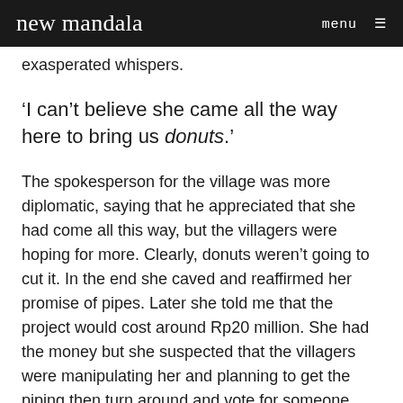new mandala   menu
exasperated whispers.
‘I can’t believe she came all the way here to bring us donuts.’
The spokesperson for the village was more diplomatic, saying that he appreciated that she had come all this way, but the villagers were hoping for more. Clearly, donuts weren’t going to cut it. In the end she caved and reaffirmed her promise of pipes. Later she told me that the project would cost around Rp20 million. She had the money but she suspected that the villagers were manipulating her and planning to get the piping then turn around and vote for someone else. Their dismissal of her donut gifts